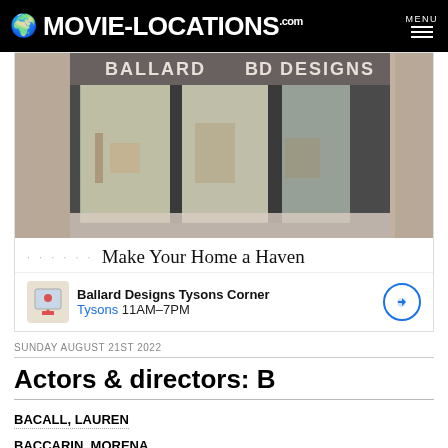MOVIE-LOCATIONS.com MENU
[Figure (photo): Ballard Designs store front with large glass windows and BD logo signage]
Make Your Home a Haven
Ballard Designs Tysons Corner
Tysons 11AM-7PM
SUNDAY AUGUST 21ST 2022
Actors & directors: B
BACALL, LAUREN
BACCARIN, MORENA